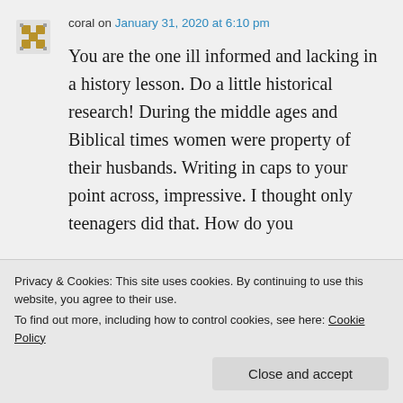coral on January 31, 2020 at 6:10 pm
You are the one ill informed and lacking in a history lesson. Do a little historical research! During the middle ages and Biblical times women were property of their husbands. Writing in caps to your point across, impressive. I thought only teenagers did that. How do you
Privacy & Cookies: This site uses cookies. By continuing to use this website, you agree to their use.
To find out more, including how to control cookies, see here: Cookie Policy
Close and accept